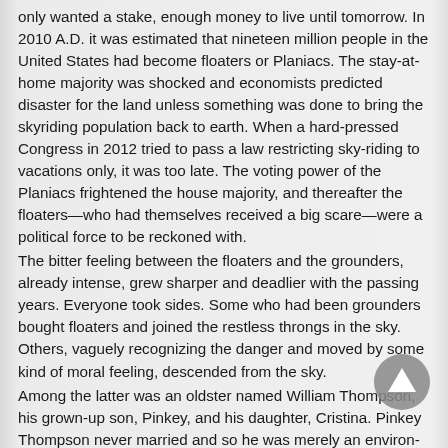only wanted a stake, enough money to live until tomorrow. In 2010 A.D. it was estimated that nineteen million people in the United States had become floaters or Planiacs. The stay-at-home majority was shocked and economists predicted disaster for the land unless something was done to bring the skyriding population back to earth. When a hard-pressed Congress in 2012 tried to pass a law restricting sky-riding to vacations only, it was too late. The voting power of the Planiacs frightened the house majority, and thereafter the floaters—who had themselves received a big scare—were a political force to be reckoned with.
The bitter feeling between the floaters and the grounders, already intense, grew sharper and deadlier with the passing years. Everyone took sides. Some who had been grounders bought floaters and joined the restless throngs in the sky. Others, vaguely recognizing the danger and moved by some kind of moral feeling, descended from the sky.
Among the latter was an oldster named William Thompson, his grown-up son, Pinkey, and his daughter, Cristina. Pinkey Thompson never married and so he was merely an environment, a ne'er-do-well anthropological "climate," an irritant on the slime of time. He existed, therefore he influenced those with whom he came in contact. Whatever he took into his